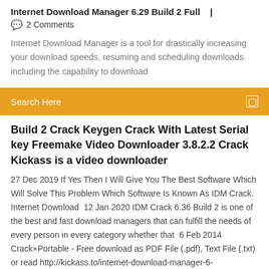Internet Download Manager 6.29 Build 2 Full   |
💬  2 Comments
Internet Download Manager is a tool for drastically increasing your download speeds, resuming and scheduling downloads including the capability to download
Search Here
Build 2 Crack Keygen Crack With Latest Serial key Freemake Video Downloader 3.8.2.2 Crack Kickass is a video downloader
27 Dec 2019 If Yes Then I Will Give You The Best Software Which Will Solve This Problem Which Software Is Known As IDM Crack. Internet Download  12 Jan 2020 IDM Crack 6.36 Build 2 is one of the best and fast download managers that can fulfill the needs of every person in every category whether that  6 Feb 2014 Crack+Portable - Free download as PDF File (.pdf), Text File (.txt) or read http://kickass.to/internet-download-manager-6-